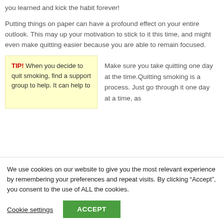you learned and kick the habit forever!
Putting things on paper can have a profound effect on your entire outlook. This may up your motivation to stick to it this time, and might even make quitting easier because you are able to remain focused.
TIP! When you decide to quit smoking, find a support group to help. It can help to
Make sure you take quitting one day at the time.Quitting smoking is a process. Just go through it one day at a time, as
We use cookies on our website to give you the most relevant experience by remembering your preferences and repeat visits. By clicking “Accept”, you consent to the use of ALL the cookies.
Cookie settings
ACCEPT